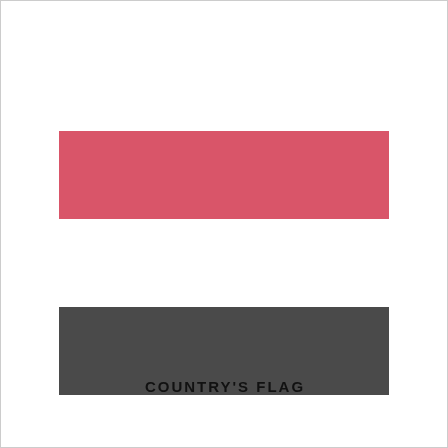[Figure (illustration): Yemen flag with three horizontal stripes: red on top, white in the middle, and black on the bottom.]
COUNTRY'S FLAG